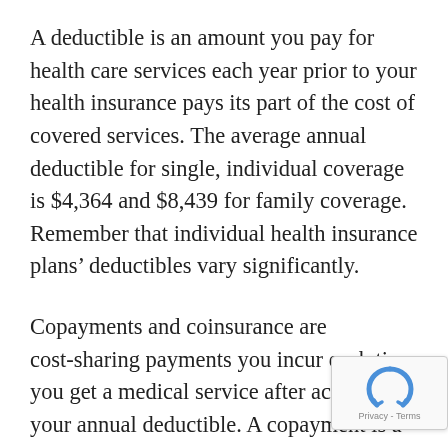A deductible is an amount you pay for health care services each year prior to your health insurance pays its part of the cost of covered services. The average annual deductible for single, individual coverage is $4,364 and $8,439 for family coverage. Remember that individual health insurance plans' deductibles vary significantly.
Copayments and coinsurance are cost-sharing payments you incur each time you get a medical service after achieving your annual deductible. A copayment is a fixed amount that you pay for covered health care services. For instance, suppose your plan has a $30 copayment and